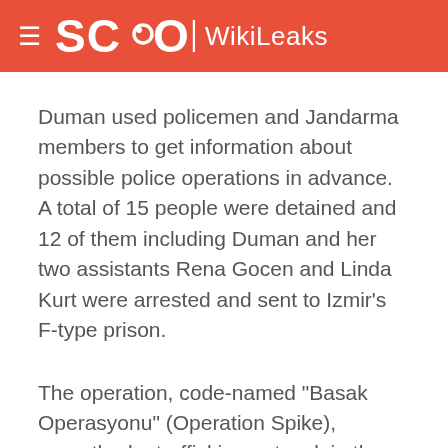SCOOP WikiLeaks
Duman used policemen and Jandarma members to get information about possible police operations in advance. A total of 15 people were detained and 12 of them including Duman and her two assistants Rena Gocen and Linda Kurt were arrested and sent to Izmir's F-type prison.
The operation, code-named "Basak Operasyonu" (Operation Spike), unearthed a trafficking network in the region. Duman had established contact with international human trafficking